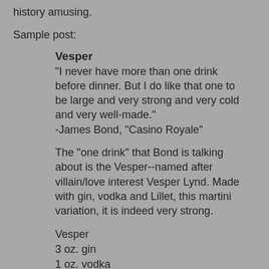history amusing.
Sample post:
Vesper
"I never have more than one drink before dinner. But I do like that one to be large and very strong and very cold and very well-made."
-James Bond, "Casino Royale"
The "one drink" that Bond is talking about is the Vesper--named after villain/love interest Vesper Lynd. Made with gin, vodka and Lillet, this martini variation, it is indeed very strong.
Vesper
3 oz. gin
1 oz. vodka
1/2 oz. Lillet Blanc
Pour ingredients into a cocktail shaker filled with ice. You can shake or you can stir. A shaken drink